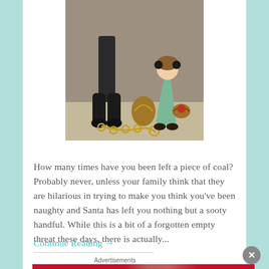[Figure (illustration): Vintage illustration showing a figure in dark clothing with chains on the ground and a young girl in a green dress holding a basket]
How many times have you been left a piece of coal? Probably never, unless your family think that they are hilarious in trying to make you think you've been naughty and Santa has left you nothing but a sooty handful. While this is a bit of a forgotten empty threat these days, there is actually...
Continue Reading →
Advertisements
[Figure (other): Macy's advertisement banner with red background showing 'KISS BORING LIPS GOODBYE' text, a woman's face, 'SHOP NOW' button and Macy's star logo]